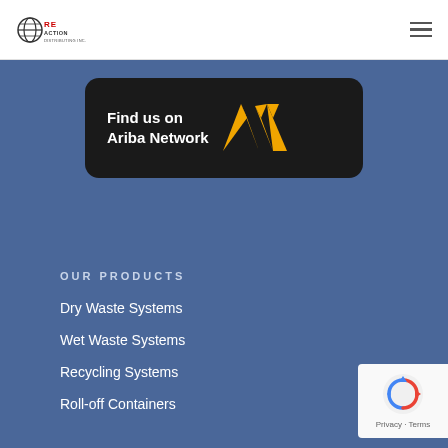Reaction Distributing Inc. — navigation header
[Figure (logo): Find us on Ariba Network banner with dark rounded rectangle background and gold Ariba logo]
OUR PRODUCTS
Dry Waste Systems
Wet Waste Systems
Recycling Systems
Roll-off Containers
[Figure (logo): Google reCAPTCHA badge with Privacy and Terms links]